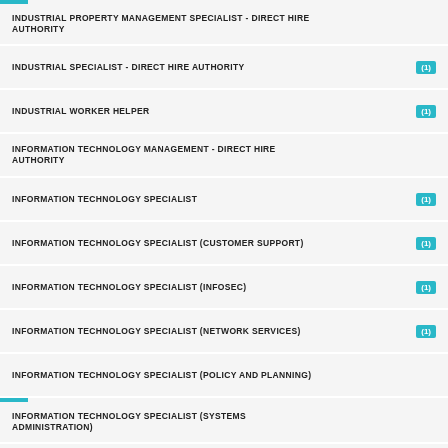INDUSTRIAL PROPERTY MANAGEMENT SPECIALIST - DIRECT HIRE AUTHORITY
INDUSTRIAL SPECIALIST - DIRECT HIRE AUTHORITY (1)
INDUSTRIAL WORKER HELPER (1)
INFORMATION TECHNOLOGY MANAGEMENT - DIRECT HIRE AUTHORITY
INFORMATION TECHNOLOGY SPECIALIST (1)
INFORMATION TECHNOLOGY SPECIALIST (CUSTOMER SUPPORT) (1)
INFORMATION TECHNOLOGY SPECIALIST (INFOSEC) (1)
INFORMATION TECHNOLOGY SPECIALIST (NETWORK SERVICES) (1)
INFORMATION TECHNOLOGY SPECIALIST (POLICY AND PLANNING)
INFORMATION TECHNOLOGY SPECIALIST (SYSTEMS ADMINISTRATION)
INSTALLER AND REPAIRER - DIRECT HIRE AUTHORITY (1)
INSTRUMENT MECHANIC - DIRECT HIRE AUTHORITY (1)
INTELLIGENCE SPECIALIST (OPERATIONS) (1)